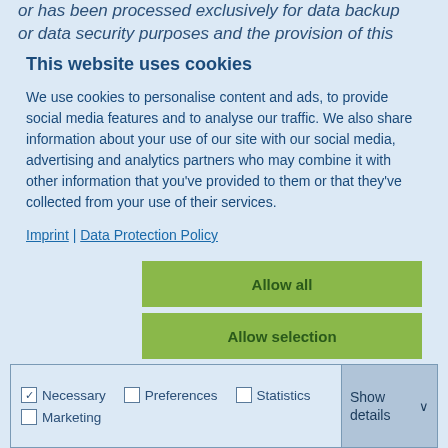or has been processed exclusively for data backup or data security purposes and the provision of this
This website uses cookies
We use cookies to personalise content and ads, to provide social media features and to analyse our traffic. We also share information about your use of our site with our social media, advertising and analytics partners who may combine it with other information that you've provided to them or that they've collected from your use of their services.
Imprint | Data Protection Policy
Allow all
Allow selection
Deny
Necessary  Preferences  Statistics  Marketing  Show details